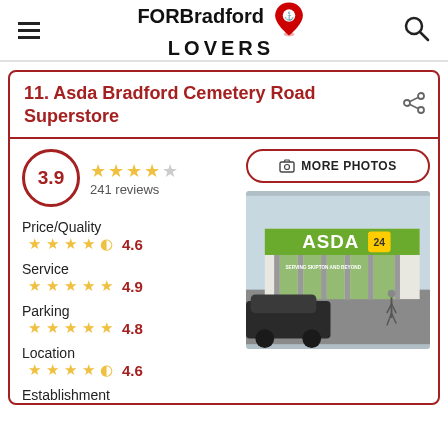FORBradford LOVERS
11. Asda Bradford Cemetery Road Superstore
3.9 — 241 reviews
Price/Quality 4.6
Service 4.9
Parking 4.8
Location 4.6
Establishment
[Figure (photo): ASDA 24hr superstore exterior photo]